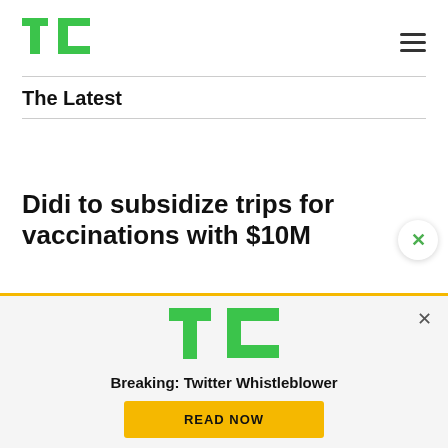[Figure (logo): TechCrunch TC green logo in top left]
[Figure (other): Hamburger menu icon top right]
The Latest
Didi to subsidize trips for vaccinations with $10M
[Figure (infographic): TechCrunch notification popup with TC logo, 'Breaking: Twitter Whistleblower' text, and READ NOW yellow button, with X close button]
Breaking: Twitter Whistleblower